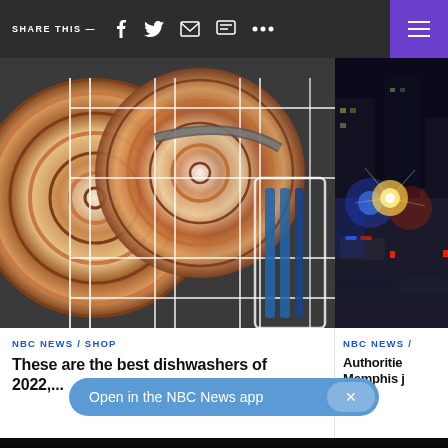SHARE THIS —
[Figure (photo): Open dishwasher loaded with spiral-patterned plates and blue utensils]
[Figure (photo): Aerial nighttime view of police lights and traffic at a scene in Memphis]
NBC NEWS / SHOP
These are the best dishwashers of 2022,...
NBC NEWS /
Authorities Memphis j
[Figure (screenshot): Dark background with green splattered object - appears to be a game or show advertisement with yellow text partially visible reading O R M Y L E S O N E]
Open in the NBC News app